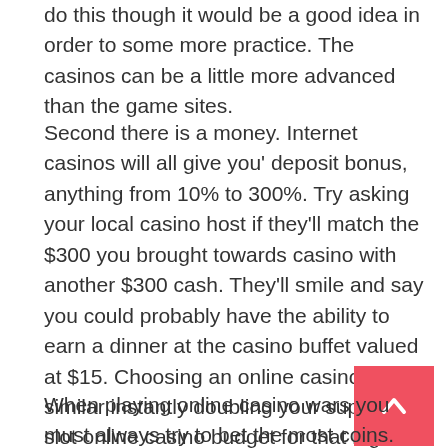do this though it would be a good idea in order to some more practice. The casinos can be a little more advanced than the game sites.
Second there is a money. Internet casinos will all give you' deposit bonus, anything from 10% to 300%. Try asking your local casino host if they'll match the $300 you brought towards casino with another $300 cash. They'll smile and say you could probably have the ability to earn a dinner at the casino buffet valued at $15. Choosing an online casino is similar instantly doubling your superslot slot online casino budget for that night. On top of that you may get a casino rebate, so you'll not be totall...t.
When playing online casino wars you must always try to bet the most coins. Due to the fact